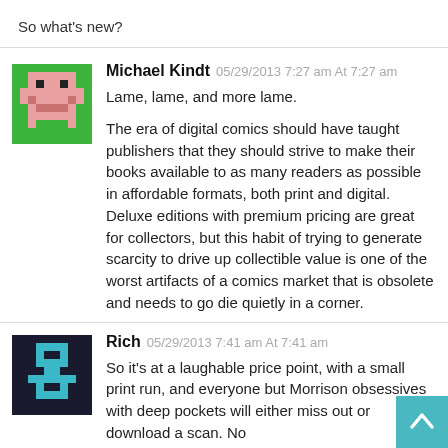So what's new?
Michael Kindt 05/29/2013 7:27 am At 7:27 am
Lame, lame, and more lame.

The era of digital comics should have taught publishers that they should strive to make their books available to as many readers as possible in affordable formats, both print and digital. Deluxe editions with premium pricing are great for collectors, but this habit of trying to generate scarcity to drive up collectible value is one of the worst artifacts of a comics market that is obsolete and needs to go die quietly in a corner.
Rich 05/29/2013 7:41 am At 7:41 am
So it's at a laughable price point, with a small print run, and everyone but Morrison obsessives with deep pockets will either miss out or download a scan. No